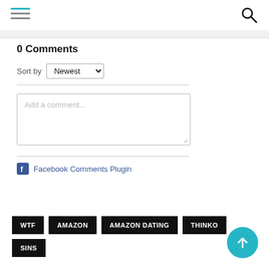0 Comments
Sort by Newest
Add a comment...
Facebook Comments Plugin
WTF
AMAZON
AMAZON DATING
THINKO
SINS